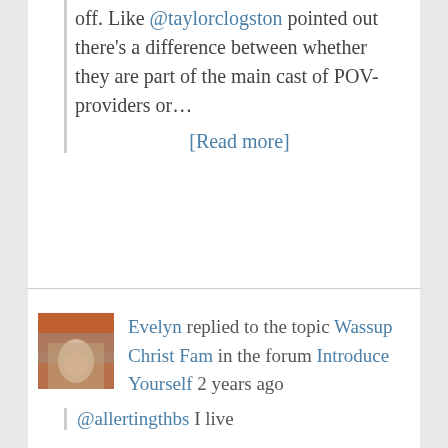off. Like @taylorclogston pointed out there's a difference between whether they are part of the main cast of POV-providers or… [Read more]
Evelyn replied to the topic Wassup Christ Fam in the forum Introduce Yourself 2 years ago
@allertingthbs I live